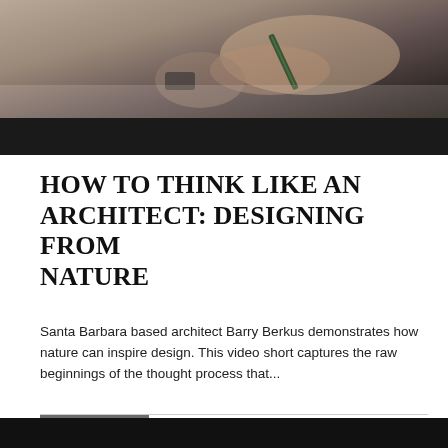[Figure (photo): Close-up photo of a person's hand holding a pen/marker, sketching or drawing on paper. Dark bar overlay at bottom of image.]
HOW TO THINK LIKE AN ARCHITECT: DESIGNING FROM NATURE
Santa Barbara based architect Barry Berkus demonstrates how nature can inspire design. This video short captures the raw beginnings of the thought process that...
SEE MORE